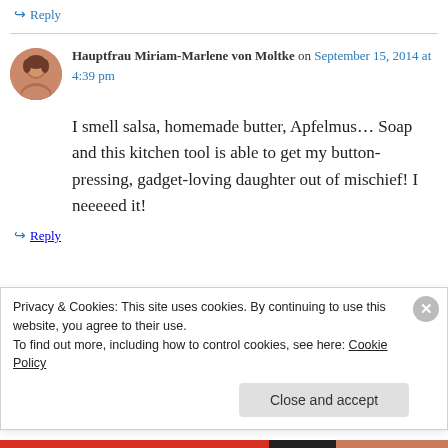↪ Reply
Hauptfrau Miriam-Marlene von Moltke on September 15, 2014 at 4:39 pm
I smell salsa, homemade butter, Apfelmus… Soap and this kitchen tool is able to get my button-pressing, gadget-loving daughter out of mischief! I neeeeed it!
↪ Reply
Privacy & Cookies: This site uses cookies. By continuing to use this website, you agree to their use.
To find out more, including how to control cookies, see here: Cookie Policy
Close and accept